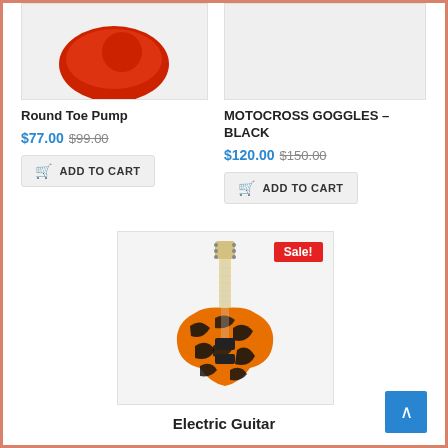[Figure (photo): Partial view of a red round toe pump shoe, cropped at top]
[Figure (photo): Motocross goggles product image, cropped at top, mostly white/light background]
Round Toe Pump
$77.00 $99.00
ADD TO CART
MOTOCROSS GOGGLES – BLACK
$120.00 $150.00
ADD TO CART
[Figure (photo): Electric guitar with tiger stripe orange and black pattern body, light maple neck, Sale! badge in red top right]
Electric Guitar